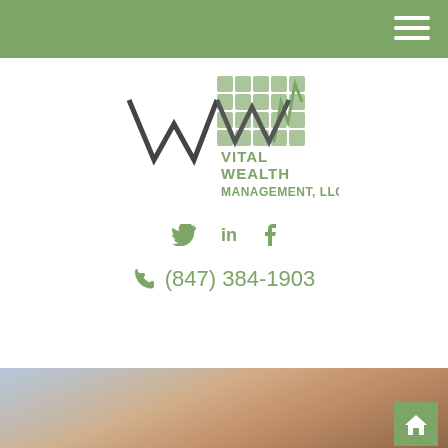[Figure (logo): Vital Wealth Management LLC logo with stylized W/M chart lines and green grid squares]
Twitter LinkedIn Facebook social icons
(847) 384-1903
[Figure (photo): Photo of hands typing on a laptop keyboard]